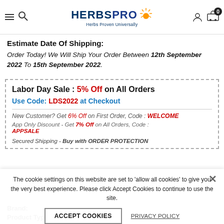HerbsPro - Herbs Proven Universally
Estimate Date Of Shipping:
Order Today! We Will Ship Your Order Between 12th September 2022 To 15th September 2022.
Labor Day Sale : 5% Off on All Orders
Use Code: LDS2022 at Checkout
New Customer? Get 6% Off on First Order, Code : WELCOME
App Only Discount - Get 7% Off on All Orders, Code : APPSALE
Secured Shipping - Buy with ORDER PROTECTION
The cookie settings on this website are set to 'allow all cookies' to give you the very best experience. Please click Accept Cookies to continue to use the site.
ACCEPT COOKIES   PRIVACY POLICY
Brand:
Product Type: Incense range